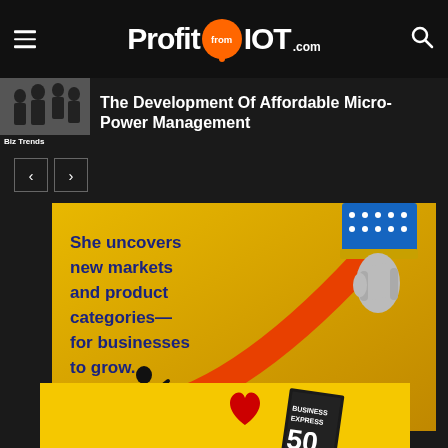ProfitfromIOT.com
The Development Of Affordable Micro-Power Management
Biz Trends
[Figure (infographic): Yellow advertisement banner with dark blue bold text reading 'She uncovers new markets and product categories—for businesses to grow.' with a person silhouette, a large orange arrow pointing upward, and a hand from above]
[Figure (infographic): Yellow strip at bottom with a red heart and an Express magazine cover visible]